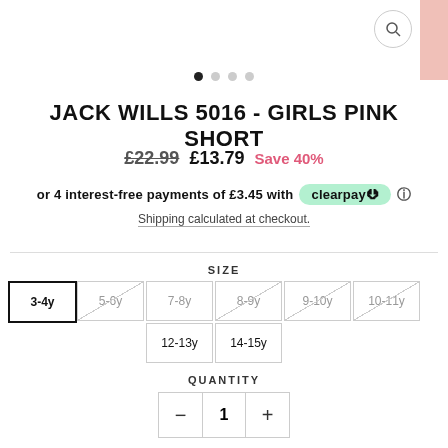[Figure (screenshot): Pink fabric image in top right corner]
[Figure (other): Carousel pagination dots, first dot active]
JACK WILLS 5016 - GIRLS PINK SHORT
£22.99  £13.79  Save 40%
or 4 interest-free payments of £3.45 with clearpay
Shipping calculated at checkout.
SIZE
3-4y (selected)
5-6y (sold out)
7-8y
8-9y (sold out)
9-10y (sold out)
10-11y (sold out)
12-13y
14-15y
QUANTITY
- 1 +